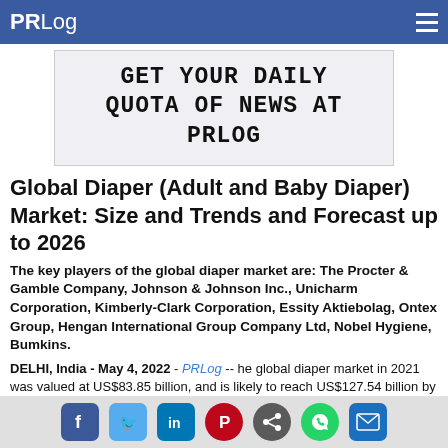PRLog
[Figure (other): Advertisement banner: GET YOUR DAILY QUOTA OF NEWS AT PRLOG in monospace bold text on light gray background]
Global Diaper (Adult and Baby Diaper) Market: Size and Trends and Forecast up to 2026
The key players of the global diaper market are: The Procter & Gamble Company, Johnson & Johnson Inc., Unicharm Corporation, Kimberly-Clark Corporation, Essity Aktiebolag, Ontex Group, Hengan International Group Company Ltd, Nobel Hygiene, Bumkins.
DELHI, India - May 4, 2022 - PRLog -- he global diaper market in 2021 was valued at US$83.85 billion, and is likely to reach US$127.54 billion by 2026. Diaper is often worn by babies as
Social share icons: Facebook, Twitter, LinkedIn, Pinterest, Share, WhatsApp, Email